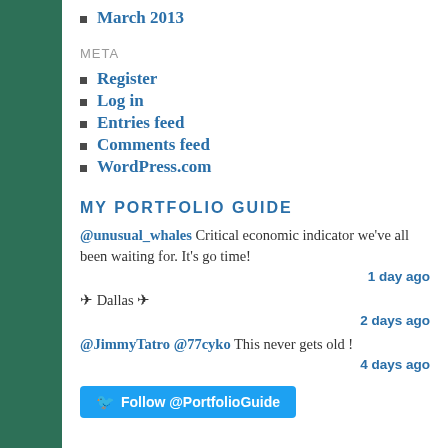March 2013
META
Register
Log in
Entries feed
Comments feed
WordPress.com
MY PORTFOLIO GUIDE
@unusual_whales Critical economic indicator we've all been waiting for. It's go time!
1 day ago
✈ Dallas ✈
2 days ago
@JimmyTatro @77cyko This never gets old !
4 days ago
Follow @PortfolioGuide